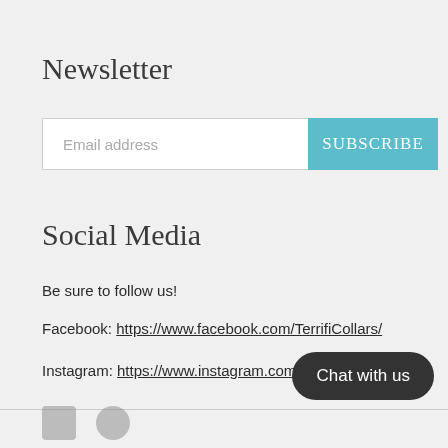Newsletter
Email address
SUBSCRIBE
Social Media
Be sure to follow us!
Facebook: https://www.facebook.com/TerrifiCollars/
Instagram: https://www.instagram.com/terrificollars/
Chat with us